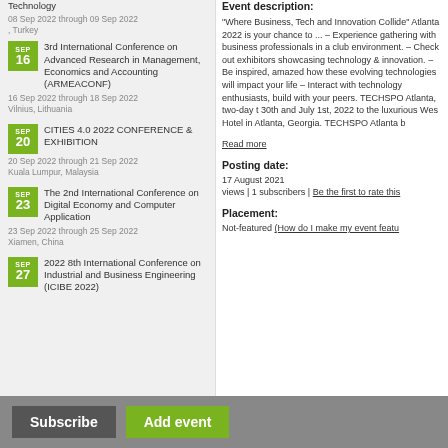Technology
08 Sep 2022 through 09 Sep 2022
, Turkey
SEP 16 - 3rd International Conference on Advanced Research in Management, Economics and Accounting (ARMEACONF)
16 Sep 2022 through 18 Sep 2022
Vilnius, Lithuania
SEP 20 - CITIES 4.0 2022 CONFERENCE & EXHIBITION
20 Sep 2022 through 21 Sep 2022
Kuala Lumpur, Malaysia
SEP 23 - The 2nd International Conference on Digital Economy and Computer Application
23 Sep 2022 through 25 Sep 2022
Xiamen, China
SEP 27 - 2022 8th International Conference on Industrial and Business Engineering (ICIBE 2022)
Event description:
"Where Business, Tech and Innovation Collide" Atlanta 2022 is your chance to ... – Experience gathering with business professionals in a club environment. – Check out exhibitors showcasing technology & innovation. – Be inspired, amazed how these evolving technologies will impact your life – Interact with technology enthusiasts, build with your peers. TECHSPO Atlanta, two-day t 30th and July 1st, 2022 to the luxurious Wes Hotel in Atlanta, Georgia. TECHSPO Atlanta b
Read more
Posting date:
17 August 2021
views | 1 subscribers | Be the first to rate this
Placement:
Not-featured (How do I make my event featu